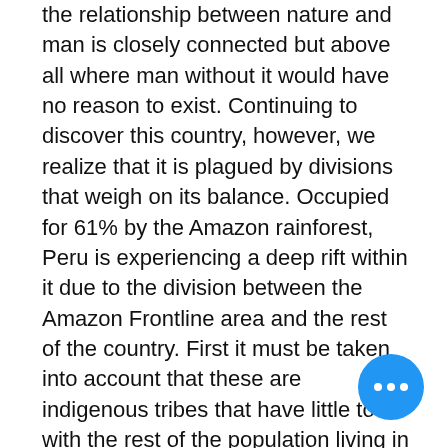the relationship between nature and man is closely connected but above all where man without it would have no reason to exist. Continuing to discover this country, however, we realize that it is plagued by divisions that weigh on its balance. Occupied for 61% by the Amazon rainforest, Peru is experiencing a deep rift within it due to the division between the Amazon Frontline area and the rest of the country. First it must be taken into account that these are indigenous tribes that have little to do with the rest of the population living in Peru.
It is estimated that today thousands of indigenous children are forced to attend schools where the proposed teaching is offered in a language other than their own, Spanish. It is also necessary to take into account the situation of the Amazonian territory where there is a high level of biodiversity that is not yet